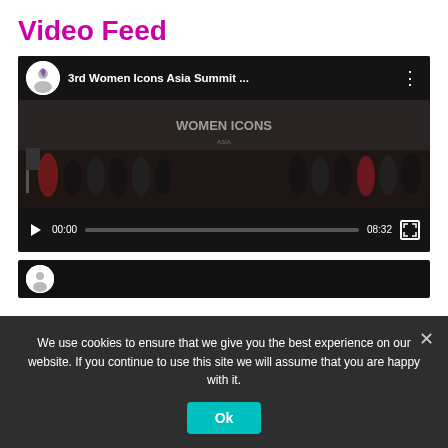Video Feed
[Figure (screenshot): YouTube embedded video player showing '3rd Women Icons Asia Summit ...' with a group photo of women at an awards event, YouTube play button overlay, and video controls showing 00:00 / 08:32]
[Figure (screenshot): Second video strip partially visible at bottom of page, cut off by cookie banner]
We use cookies to ensure that we give you the best experience on our website. If you continue to use this site we will assume that you are happy with it.